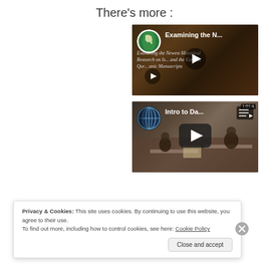There’s more :
[Figure (screenshot): Video thumbnail for 'Examining the N...' with Europe globe channel icon, play button overlay, and manuscript background with text about Historical Research on Earliest Quranic Manuscripts]
[Figure (screenshot): Video thumbnail for 'Intro to Da...' with globe channel icon, dark play button overlay, playlist icon, lecture room background showing people at tables]
Privacy & Cookies: This site uses cookies. By continuing to use this website, you agree to their use.
To find out more, including how to control cookies, see here: Cookie Policy
Close and accept